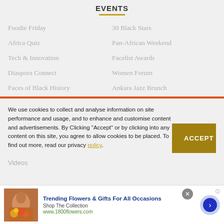EVENTS
Foodie Friday
30 Black Stars
Africa Quiz
Pan-African Weekend
Tech & Innovation
Facelist Awards
Diaspora Connect
Women Forum
Faces of Black History
Ankara Jazz Brunch
We use cookies to collect and analyse information on site performance and usage, and to enhance and customise content and advertisements. By Clicking "Accept" or by clicking into any content on this site, you agree to allow cookies to be placed. To find out more, read our privacy policy.
Videos
[Figure (infographic): Advertisement banner for 1800flowers.com: Trending Flowers & Gifts For All Occasions, Shop The Collection, www.1800flowers.com, with a photo of a woman with flowers, a close button, and a navigation arrow.]